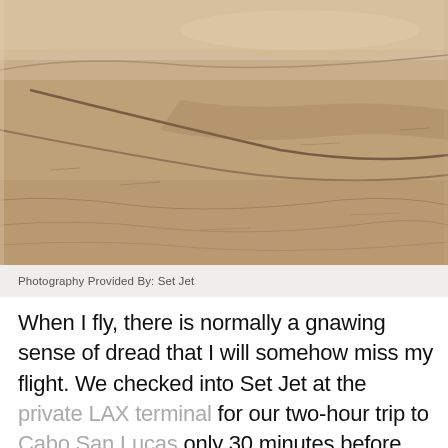[Figure (photo): Aerial or close-up photograph of sandy desert or beach terrain in sepia/brownish tones, showing rippled sand patterns and gentle ridgelines]
Photography Provided By: Set Jet
When I fly, there is normally a gnawing sense of dread that I will somehow miss my flight. We checked into Set Jet at the private LAX terminal for our two-hour trip to Cabo San Lucas only 30 minutes before our flight, and